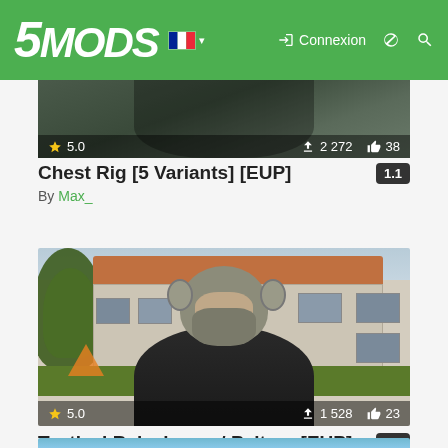5MODS | Connexion
[Figure (screenshot): Partial cropped image of a game character in military gear (chest rig), showing rating 5.0, 2272 downloads, 38 likes]
Chest Rig [5 Variants] [EUP]  1.1
By Max_
[Figure (screenshot): Game screenshot of a character wearing a tactical balaclava with Peltor headphones, standing in front of a building. Rating 5.0, 1528 downloads, 23 likes]
Tactical Balaclava w/ Peltors [EUP]  1.0
By Max_
[Figure (screenshot): Partial bottom strip of a third card image (blue tones)]